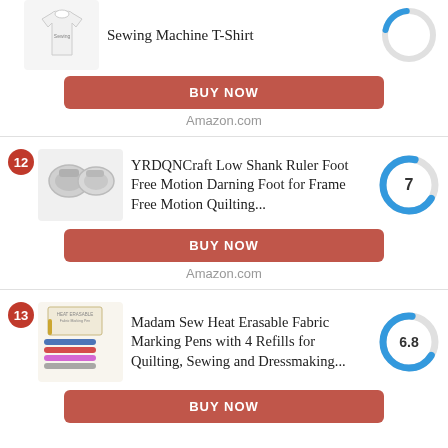Sewing Machine T-Shirt
BUY NOW
Amazon.com
[Figure (donut-chart): Score circle showing partial blue arc, score cut off at top]
12
YRDQNCraft Low Shank Ruler Foot Free Motion Darning Foot for Frame Free Motion Quilting...
[Figure (donut-chart): Score circle showing 7 out of 10, blue arc about 70%]
BUY NOW
Amazon.com
13
Madam Sew Heat Erasable Fabric Marking Pens with 4 Refills for Quilting, Sewing and Dressmaking...
[Figure (donut-chart): Score circle showing 6.8 out of 10, blue arc about 68%]
BUY NOW